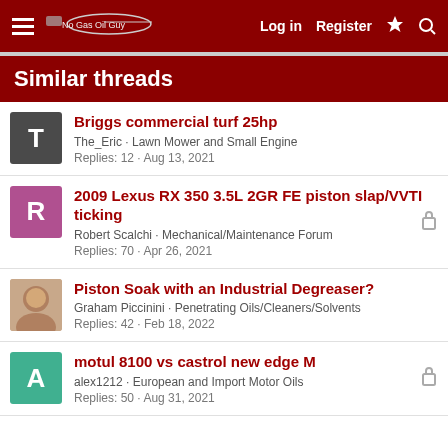Log in  Register
Similar threads
Briggs commercial turf 25hp
The_Eric · Lawn Mower and Small Engine
Replies: 12 · Aug 13, 2021
2009 Lexus RX 350 3.5L 2GR FE piston slap/VVTI ticking
Robert Scalchi · Mechanical/Maintenance Forum
Replies: 70 · Apr 26, 2021
Piston Soak with an Industrial Degreaser?
Graham Piccinini · Penetrating Oils/Cleaners/Solvents
Replies: 42 · Feb 18, 2022
motul 8100 vs castrol new edge M
alex1212 · European and Import Motor Oils
Replies: 50 · Aug 31, 2021